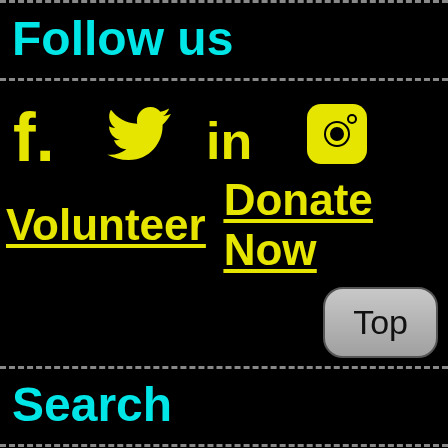Follow us
[Figure (infographic): Row of four yellow social media icons: Facebook (f), Twitter (bird), LinkedIn (in), Instagram (camera)]
Volunteer  Donate Now
[Figure (other): Gray rounded rectangle button labeled 'Top']
Search
Search